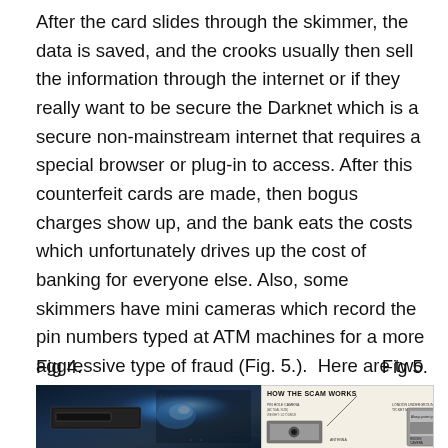After the card slides through the skimmer, the data is saved, and the crooks usually then sell the information through the internet or if they really want to be secure the Darknet which is a secure non-mainstream internet that requires a special browser or plug-in to access. After this counterfeit cards are made, then bogus charges show up, and the bank eats the costs which unfortunately drives up the cost of banking for everyone else. Also, some skimmers have mini cameras which record the pin numbers typed at ATM machines for a more aggressive type of fraud (Fig. 5.).  Here are two images of skimmer technologies:
Fig 4.
Fig 5.
[Figure (photo): Photo of a card skimmer device with blue LED lights]
[Figure (infographic): Infographic titled 'HOW THE SCAM WORKS' showing pin hole camera, antenna, London Underground ticket machine, and hidden camera components]